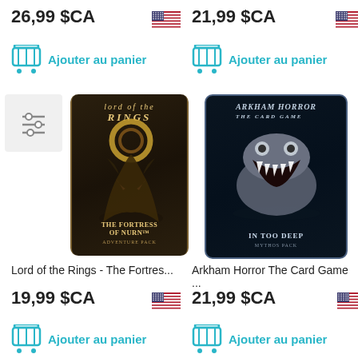26,99 $CA
21,99 $CA
Ajouter au panier
Ajouter au panier
[Figure (photo): Lord of the Rings The Fortress of Nurn Adventure Pack card game product image]
[Figure (photo): Arkham Horror The Card Game In Too Deep Mythos Pack product image]
Lord of the Rings - The Fortres...
Arkham Horror The Card Game ...
19,99 $CA
21,99 $CA
Ajouter au panier
Ajouter au panier